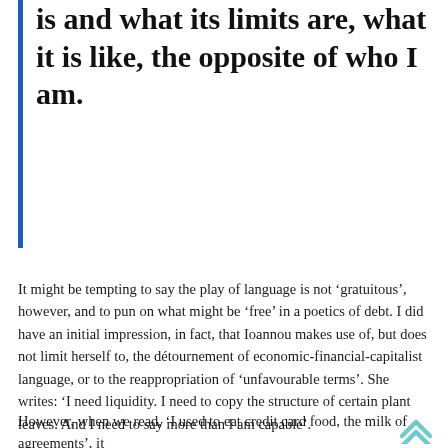is and what its limits are, what it is like, the opposite of who I am.
It might be tempting to say the play of language is not ‘gratuitous’, however, and to pun on what might be ‘free’ in a poetics of debt. I did have an initial impression, in fact, that Ioannou makes use of, but does not limit herself to, the détournement of economic-financial-capitalist language, or to the reappropriation of ‘unfavourable terms’. She writes: ‘I need liquidity. I need to copy the structure of certain plant leaves. And I need to say more than I am capable’.
However, when we read, ‘I used to eat credit card food, the milk of agreements’, it